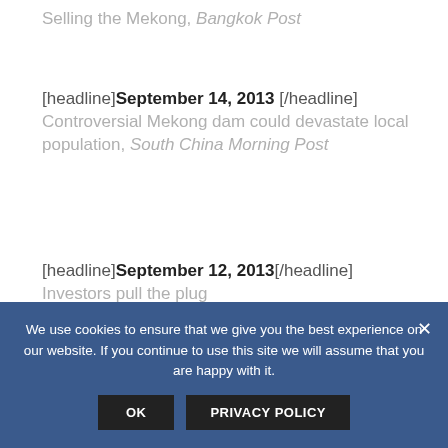Selling the Mekong, Bangkok Post
[headline]September 14, 2013 [/headline] Controversial Mekong dam could devastate local population, South China Morning Post
[headline]September 12, 2013[/headline] Investors pull the plug on hydropower, Thanh Nien Daily
Private power plants ready to sell electricity
We use cookies to ensure that we give you the best experience on our website. If you continue to use this site we will assume that you are happy with it.